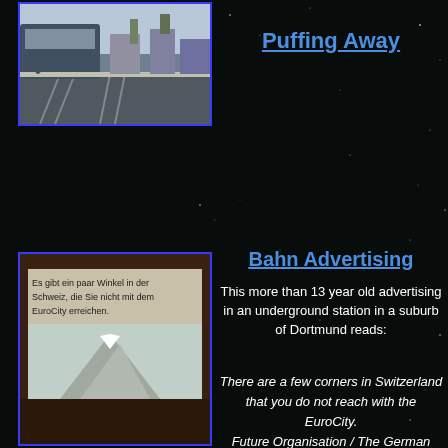[Figure (photo): Train station platform with tracks and train visible, grey sky, people on platform]
Puffing Away
[Figure (photo): Bahn advertising poster in underground station showing Swiss mountain landscape with German text: Es gibt ein paar Winkel in der Schweiz, die Sie nicht mit dem EuroCity erreichen.]
Bahn Advertising
This more than 13 year old advertising in an underground station in a suburb of Dortmund reads:
There are a few corners in Switzerland that you do not reach with the EuroCity. Future Organisation / The German Railways
[Figure (photo): View from a bridge showing trees, railway signals, and a road (Leierweg) in the upper right corner]
View From a Bridge
The Street in the upper right corner of this picture is the Leierweg (next picture).
[Figure (photo): Partial view of bare tree branches against dark background, bottom of page]